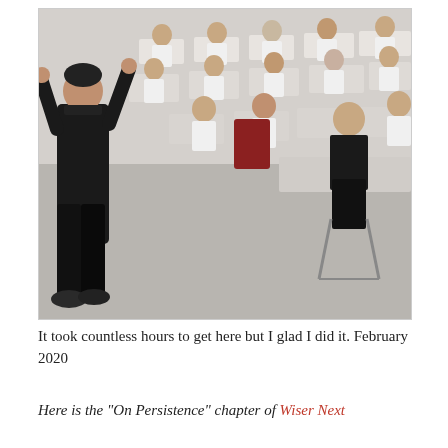[Figure (photo): A person standing at the front of a classroom with arms raised, facing seated students at desks in a bright room with a grey floor.]
It took countless hours to get here but I glad I did it. February 2020
Here is the “On Persistence” chapter of Wiser Next